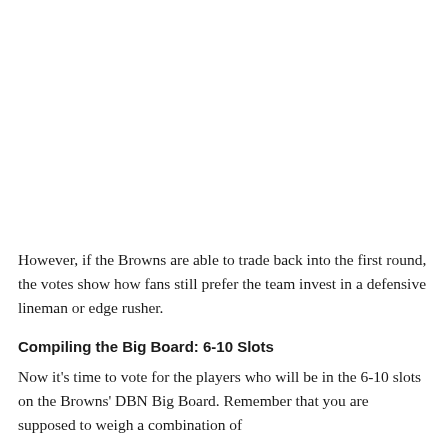However, if the Browns are able to trade back into the first round, the votes show how fans still prefer the team invest in a defensive lineman or edge rusher.
Compiling the Big Board: 6-10 Slots
Now it's time to vote for the players who will be in the 6-10 slots on the Browns' DBN Big Board. Remember that you are supposed to weigh a combination of